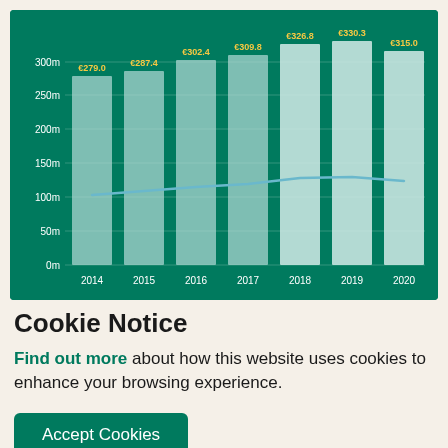[Figure (bar-chart): Revenue bar chart with trend line]
Cookie Notice
Find out more about how this website uses cookies to enhance your browsing experience.
Accept Cookies